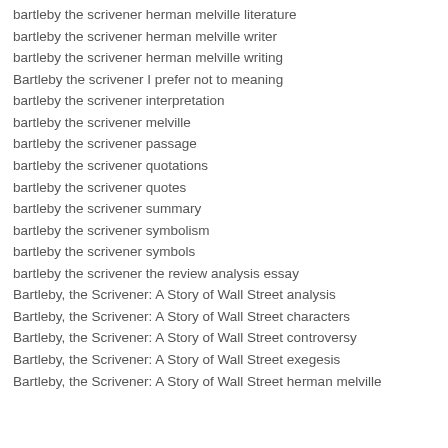bartleby the scrivener herman melville literature
bartleby the scrivener herman melville writer
bartleby the scrivener herman melville writing
Bartleby the scrivener I prefer not to meaning
bartleby the scrivener interpretation
bartleby the scrivener melville
bartleby the scrivener passage
bartleby the scrivener quotations
bartleby the scrivener quotes
bartleby the scrivener summary
bartleby the scrivener symbolism
bartleby the scrivener symbols
bartleby the scrivener the review analysis essay
Bartleby, the Scrivener: A Story of Wall Street analysis
Bartleby, the Scrivener: A Story of Wall Street characters
Bartleby, the Scrivener: A Story of Wall Street controversy
Bartleby, the Scrivener: A Story of Wall Street exegesis
Bartleby, the Scrivener: A Story of Wall Street herman melville